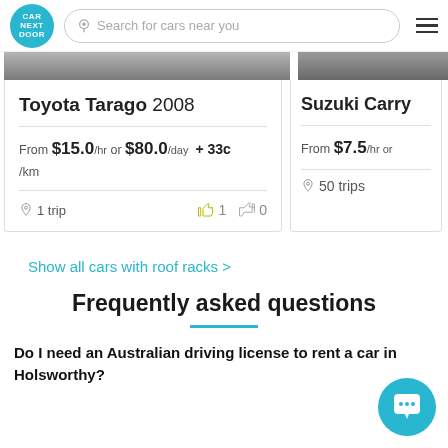Car Next Door — Search for cars near you
Toyota Tarago 2008 — From $15.0/hr or $80.0/day + 33c/km — 1 trip — thumbs up: 1, thumbs down: 0
Suzuki Carry — From $7.5/hr or — 50 trips
Show all cars with roof racks >
Frequently asked questions
Do I need an Australian driving license to rent a car in Holsworthy?